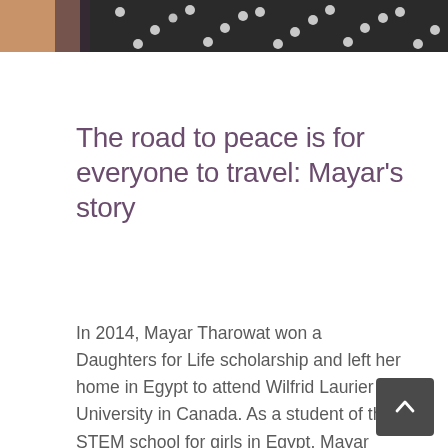[Figure (photo): Top portion of a photo showing a person wearing a black polka-dot top, cropped at the top of the page]
The road to peace is for everyone to travel: Mayar's story
In 2014, Mayar Tharowat won a Daughters for Life scholarship and left her home in Egypt to attend Wilfrid Laurier University in Canada. As a student of the STEM school for girls in Egypt, Mayar studied hard and developed her interest in science, particularly Physics. After taking a chance and applying to Daughters for Life, Mayar moved forward in her journey of education and success. With a few